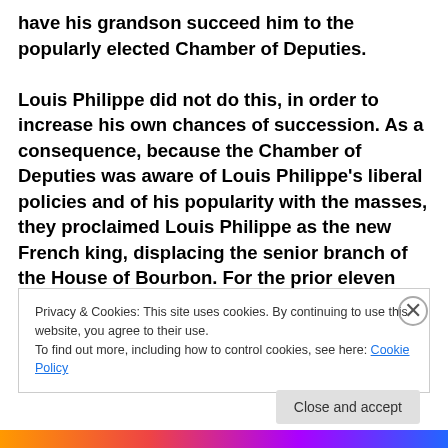have his grandson succeed him to the popularly elected Chamber of Deputies. Louis Philippe did not do this, in order to increase his own chances of succession. As a consequence, because the Chamber of Deputies was aware of Louis Philippe's liberal policies and of his popularity with the masses, they proclaimed Louis Philippe as the new French king, displacing the senior branch of the House of Bourbon. For the prior eleven days Louis Philippe had been acting as the regent for the young
Privacy & Cookies: This site uses cookies. By continuing to use this website, you agree to their use.
To find out more, including how to control cookies, see here: Cookie Policy